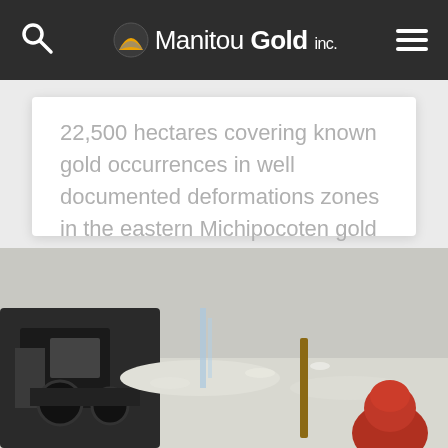Manitou Gold Inc.
22,500 hectares covering known gold occurrences in well documented deformations zones in the eastern Michipocoten gold belt, located north of Wawa Ontario.
READ MORE
[Figure (photo): Outdoor winter scene showing mining equipment and a person in a red hat working in snowy conditions]